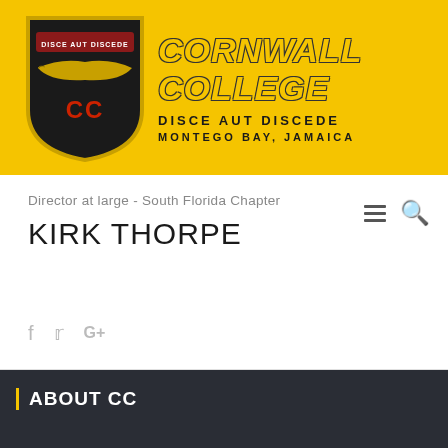[Figure (logo): Cornwall College shield logo with black background, red ribbon, gold crocodile, and CC initials]
CORNWALL COLLEGE
DISCE AUT DISCEDE
MONTEGO BAY, JAMAICA
Director at large - South Florida Chapter
KIRK THORPE
f  t  G+
ABOUT CC
Welcome Message
Our Mission
Our History
Administration